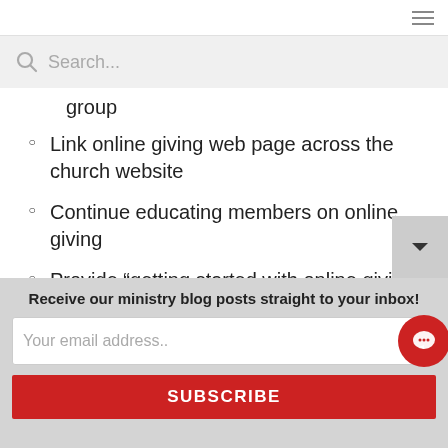group
Link online giving web page across the church website
Continue educating members on online giving
Provide “getting started with online giving” instructions
Create FAQs based on feedback from your test launch team
Receive our ministry blog posts straight to your inbox!
Your email address..
SUBSCRIBE